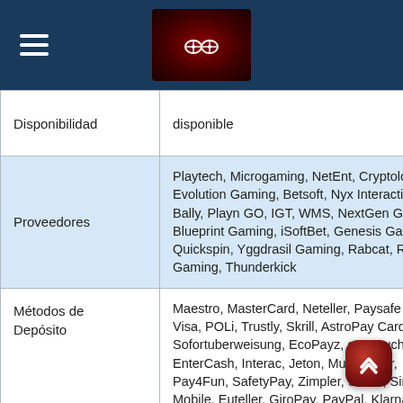Navigation and logo header
| Campo | Valor |
| --- | --- |
| Disponibilidad | disponible |
| Proveedores | Playtech, Microgaming, NetEnt, Cryptologic, Evolution Gaming, Betsoft, Nyx Interactive, Bally, Playn GO, IGT, WMS, NextGen Gaming, Blueprint Gaming, iSoftBet, Genesis Gaming, Quickspin, Yggdrasil Gaming, Rabcat, Relax Gaming, Thunderkick |
| Métodos de Depósito | Maestro, MasterCard, Neteller, Paysafe Card, Visa, POLi, Trustly, Skrill, AstroPay Card, Sofortuberweisung, EcoPayz, ecoVoucher, EnterCash, Interac, Jeton, MuchBetter, Pay4Fun, SafetyPay, Zimpler, Swish, Siru Mobile, Euteller, GiroPay, PayPal, Klarna, iDebit, instaDebit, Bradesco, JCB, Venus Point |